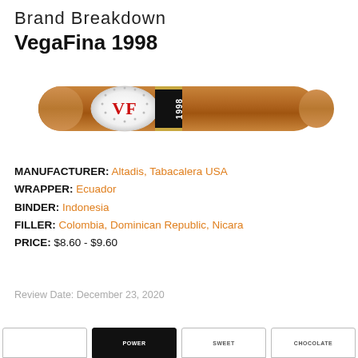Brand Breakdown
VegaFina 1998
[Figure (illustration): A VegaFina 1998 cigar with a white and gold band showing 'VF' in red letters and a black band reading '1998'. The cigar has a medium brown wrapper.]
MANUFACTURER: Altadis, Tabacalera USA
WRAPPER: Ecuador
BINDER: Indonesia
FILLER: Colombia, Dominican Republic, Nicara
PRICE: $8.60 - $9.60
Review Date: December 23, 2020